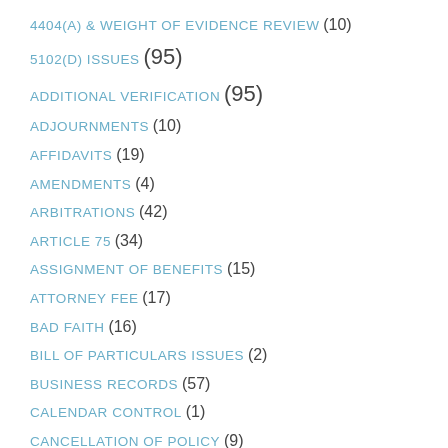4404(A) & WEIGHT OF EVIDENCE REVIEW (10)
5102(D) ISSUES (95)
ADDITIONAL VERIFICATION (95)
ADJOURNMENTS (10)
AFFIDAVITS (19)
AMENDMENTS (4)
ARBITRATIONS (42)
ARTICLE 75 (34)
ASSIGNMENT OF BENEFITS (15)
ATTORNEY FEE (17)
BAD FAITH (16)
BILL OF PARTICULARS ISSUES (2)
BUSINESS RECORDS (57)
CALENDAR CONTROL (1)
CANCELLATION OF POLICY (9)
CAUSATION (55)
CHOICE OF LAW (35)
CLAIMS OFFICE FAILURE (4)
COLLATERAL ESTOPPEL (12)